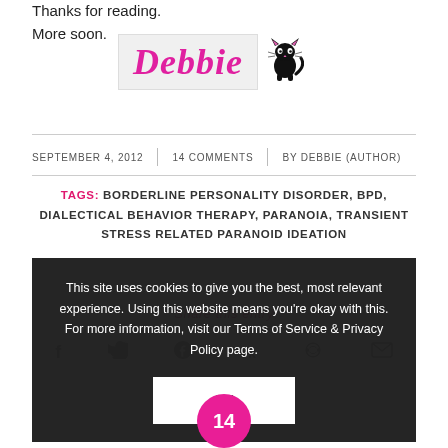Thanks for reading.
More soon.
[Figure (illustration): Handwritten-style 'Debbie' signature in pink/magenta on light grey background, with a black cartoon cat icon to the right]
SEPTEMBER 4, 2012   14 COMMENTS   BY DEBBIE (AUTHOR)
TAGS: BORDERLINE PERSONALITY DISORDER, BPD, DIALECTICAL BEHAVIOR THERAPY, PARANOIA, TRANSIENT STRESS RELATED PARANOID IDEATION
[Figure (infographic): Cookie consent overlay with text: 'This site uses cookies to give you the best, most relevant experience. Using this website means you're okay with this. For more information, visit our Terms of Service & Privacy Policy page.' with an OK button, overlapping a 'Share this entry' section with social icons (f, twitter, pinterest, vk, reddit, mail) and a pink comment bubble showing '14'.]